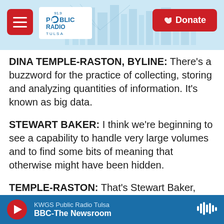Public Radio Tulsa — navigation header with hamburger menu, logo, and Donate button
DINA TEMPLE-RASTON, BYLINE: There's a buzzword for the practice of collecting, storing and analyzing quantities of information. It's known as big data.
STEWART BAKER: I think we're beginning to see a capability to handle very large volumes and to find some bits of meaning that otherwise might have been hidden.
TEMPLE-RASTON: That's Stewart Baker, and he used to be general counsel at the NSA. He says big data is going to be a staple of intelligence analysis
KWGS Public Radio Tulsa | BBC-The Newsroom